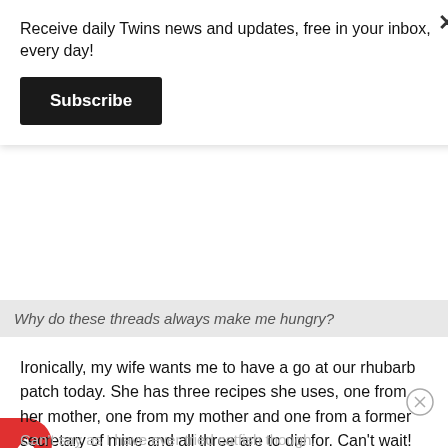Receive daily Twins news and updates, free in your inbox, every day!
Subscribe
Why do these threads always make me hungry?
Ironically, my wife wants me to have a go at our rhubarb patch today. She has three recipes she uses, one from her mother, one from my mother and one from a former secretary of mine and all three are to die for. Can't wait! She also does a rhubarb pie with meringue that a California business acquaintance of mine, originally from Wells, MN, has actually flown back to Minnesota to sample. Claimed Californios don't know how to make good rhubarb desserts.
Can't say as I have ever tried catfish though.